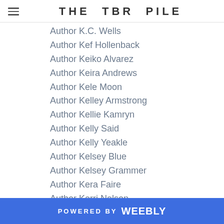THE TBR PILE
Author K.C. Wells
Author Kef Hollenback
Author Keiko Alvarez
Author Keira Andrews
Author Kele Moon
Author Kelley Armstrong
Author Kellie Kamryn
Author Kelly Said
Author Kelly Yeakle
Author Kelsey Blue
Author Kelsey Grammer
Author Kera Faire
Author Kerri Nelson
Author Kerri Patterson
Author Kevin Broden
Author Kevin O'Brien
Author K.H. LeMoyne
Author Khloe Wren
POWERED BY weebly